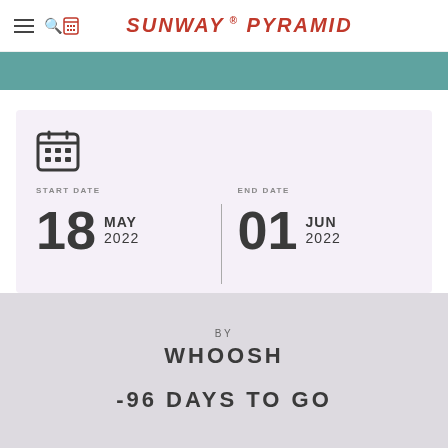SUNWAY PYRAMID
[Figure (screenshot): Teal decorative banner strip below the header]
START DATE
18 MAY 2022
END DATE
01 JUN 2022
BY
WHOOSH
-96 DAYS TO GO